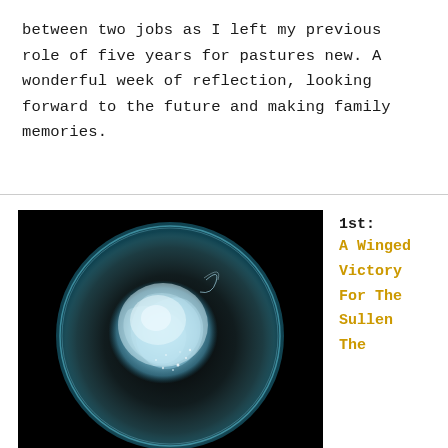between two jobs as I left my previous role of five years for pastures new. A wonderful week of reflection, looking forward to the future and making family memories.
[Figure (photo): Close-up photo of a glowing blue-white translucent sphere or jellyfish-like organism against a black background]
1st: A Winged Victory For The Sullen The